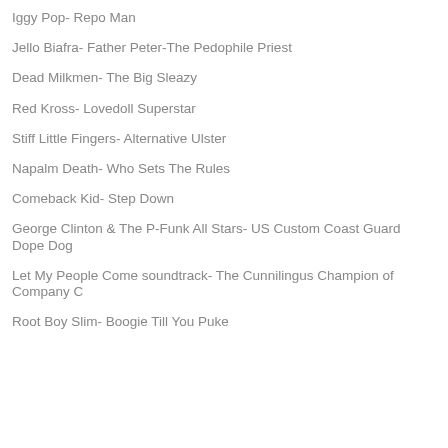Iggy Pop- Repo Man
Jello Biafra- Father Peter-The Pedophile Priest
Dead Milkmen- The Big Sleazy
Red Kross- Lovedoll Superstar
Stiff Little Fingers- Alternative Ulster
Napalm Death- Who Sets The Rules
Comeback Kid- Step Down
George Clinton & The P-Funk All Stars- US Custom Coast Guard Dope Dog
Let My People Come soundtrack- The Cunnilingus Champion of Company C
Root Boy Slim- Boogie Till You Puke